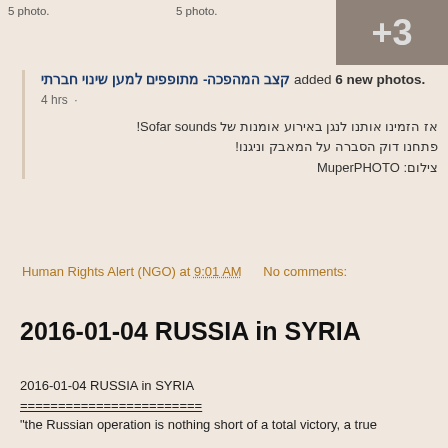[Figure (other): Top strip showing partial photo thumbnails with '5 photo.' labels and a gray overlay box showing '+3']
קצב המהפכה- מתופפים למען שינוי חברתי added 6 new photos.
4 hrs ·
אז הזמינו אותנו לנגן באירוע אומנות של Sofar sounds!
פתחנו דוק הסברה על המאבק וניגנו!
צילום: MuperPHOTO
Human Rights Alert (NGO) at 9:01 AM     No comments:
2016-01-04 RUSSIA in SYRIA
2016-01-04 RUSSIA in SYRIA
========================
"the Russian operation is nothing short of a total victory, a true